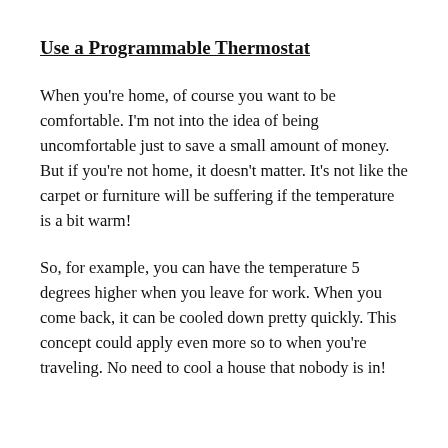Use a Programmable Thermostat
When you're home, of course you want to be comfortable. I'm not into the idea of being uncomfortable just to save a small amount of money. But if you're not home, it doesn't matter. It's not like the carpet or furniture will be suffering if the temperature is a bit warm!
So, for example, you can have the temperature 5 degrees higher when you leave for work. When you come back, it can be cooled down pretty quickly. This concept could apply even more so to when you're traveling. No need to cool a house that nobody is in!